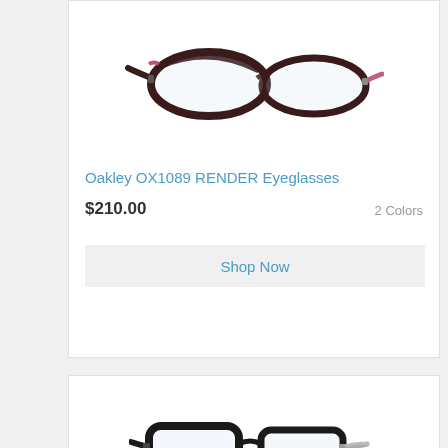[Figure (photo): Oakley OX1089 RENDER Eyeglasses product photo showing dark reddish-brown cat-eye style frames on white background]
Oakley OX1089 RENDER Eyeglasses
$210.00
2 Colors
Shop Now
[Figure (photo): Second eyeglasses product photo showing dark square/rectangular frames with silver temple accents on white background]